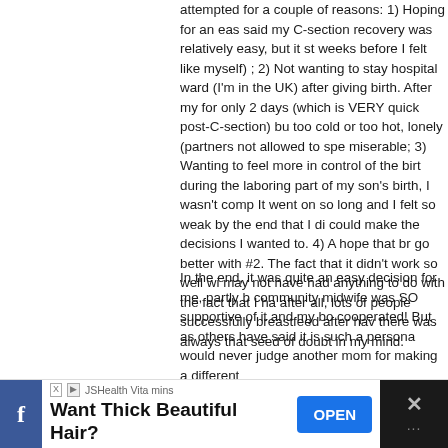attempted for a couple of reasons: 1) Hoping for an easy said my C-section recovery was relatively easy, but it st weeks before I felt like myself) ; 2) Not wanting to stay hospital ward (I'm in the UK) after giving birth. After my for only 2 days (which is VERY quick post-C-section) bu too cold or too hot, lonely (partners not allowed to spe miserable; 3) Wanting to feel more in control of the birt during the laboring part of my son's birth, I wasn't comp It went on so long and I felt so weak by the end that I di could make the decisions I wanted to. 4) A hope that br go better with #2. The fact that it didn't work so well wi may not have had anything to do with the fact that I ha after all, lots of people successfully breastfeed after hav there was always that seed of doubt in my mind.
In the end, it was quite an easy decision for me, partly b community midwife was SO supportive of it and my bo cooperated! But as others have said it is such a persona would never judge another mom for making a different
[Figure (screenshot): Advertisement bar at bottom: Facebook icon on left, JSHealth Vitamins ad with headline 'Want Thick Beautiful Hair?' and blue OPEN button, dark close button with X on right]